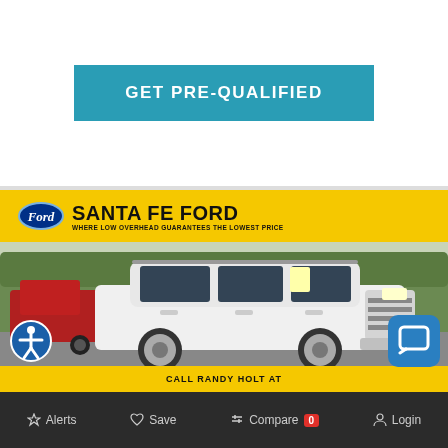GET PRE-QUALIFIED
[Figure (photo): Santa Fe Ford dealership advertisement showing a white Ford Expedition SUV parked in a lot, with yellow banner and Ford logo at top reading 'SANTA FE FORD - WHERE LOW OVERHEAD GUARANTEES THE LOWEST PRICE']
Alerts  Save  Compare 0  Login